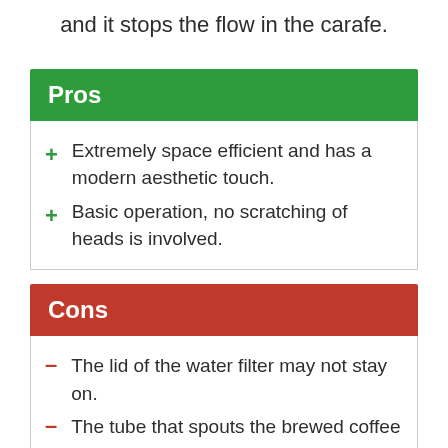and it stops the flow in the carafe.
Pros
Extremely space efficient and has a modern aesthetic touch.
Basic operation, no scratching of heads is involved.
Cons
The lid of the water filter may not stay on.
The tube that spouts the brewed coffee